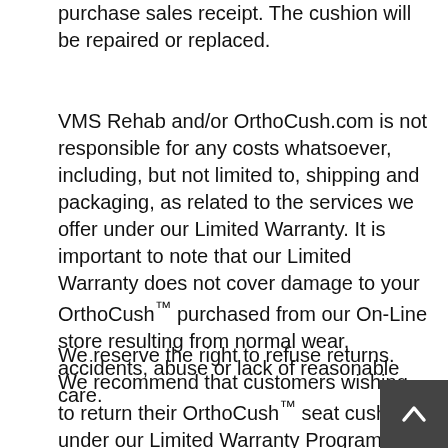purchase sales receipt. The cushion will be repaired or replaced.
VMS Rehab and/or OrthoCush.com is not responsible for any costs whatsoever, including, but not limited to, shipping and packaging, as related to the services we offer under our Limited Warranty. It is important to note that our Limited Warranty does not cover damage to your OrthoCush™ purchased from our On-Line store resulting from normal wear, accidents, abuse or lack of reasonable care.
We reserve the right to refuse returns. We recommend that customers wishing to return their OrthoCush™ seat cushion under our Limited Warranty Program, or for any reason within 30